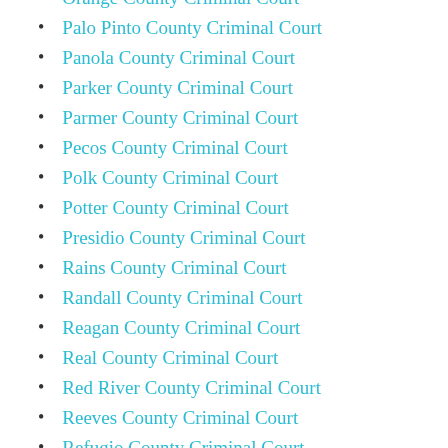Orange County Criminal Court
Palo Pinto County Criminal Court
Panola County Criminal Court
Parker County Criminal Court
Parmer County Criminal Court
Pecos County Criminal Court
Polk County Criminal Court
Potter County Criminal Court
Presidio County Criminal Court
Rains County Criminal Court
Randall County Criminal Court
Reagan County Criminal Court
Real County Criminal Court
Red River County Criminal Court
Reeves County Criminal Court
Refugio County Criminal Court